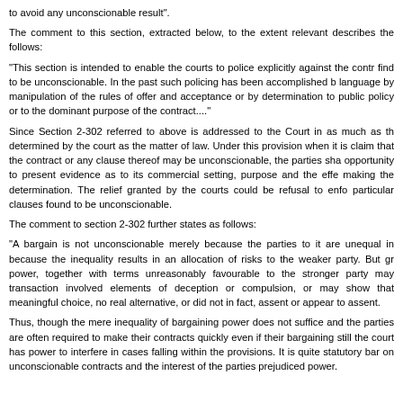to avoid any unconscionable result".
The comment to this section, extracted below, to the extent relevant describes the follows:
"This section is intended to enable the courts to police explicitly against the contr find to be unconscionable. In the past such policing has been accomplished b language by manipulation of the rules of offer and acceptance or by determination to public policy or to the dominant purpose of the contract...."
Since Section 2-302 referred to above is addressed to the Court in as much as th determined by the court as the matter of law. Under this provision when it is claim that the contract or any clause thereof may be unconscionable, the parties sha opportunity to present evidence as to its commercial setting, purpose and the effe making the determination. The relief granted by the courts could be refusal to enfo particular clauses found to be unconscionable.
The comment to section 2-302 further states as follows:
"A bargain is not unconscionable merely because the parties to it are unequal in because the inequality results in an allocation of risks to the weaker party. But gr power, together with terms unreasonably favourable to the stronger party may transaction involved elements of deception or compulsion, or may show that meaningful choice, no real alternative, or did not in fact, assent or appear to assent.
Thus, though the mere inequality of bargaining power does not suffice and the parties are often required to make their contracts quickly even if their bargaining still the court has power to interfere in cases falling within the provisions. It is quite statutory bar on unconscionable contracts and the interest of the parties prejudiced power.